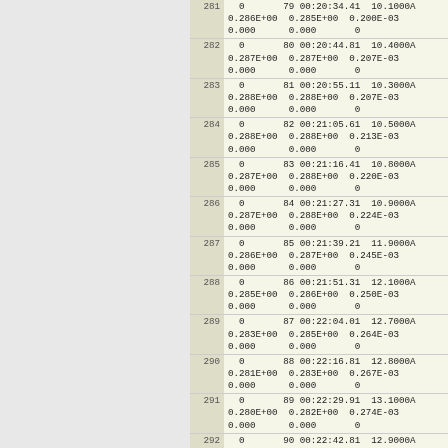| Row | Data |
| --- | --- |
| 281 | 0       79 00:20:34.41  10.1000A
0.286E+00  0.285E+00  0.200E-03
0.000      0.000       0 |
| 282 | 0       80 00:20:44.81  10.4000A
0.287E+00  0.287E+00  0.207E-03
0.000      0.000       0 |
| 283 | 0       81 00:20:55.11  10.3000A
0.288E+00  0.288E+00  0.207E-03
0.000      0.000       0 |
| 284 | 0       82 00:21:05.61  10.5000A
0.288E+00  0.288E+00  0.213E-03
0.000      0.000       0 |
| 285 | 0       83 00:21:16.41  10.8000A
0.287E+00  0.288E+00  0.220E-03
0.000      0.000       0 |
| 286 | 0       84 00:21:27.31  10.9000A
0.287E+00  0.288E+00  0.224E-03
0.000      0.000       0 |
| 287 | 0       85 00:21:39.21  11.9000A
0.286E+00  0.287E+00  0.245E-03
0.000      0.000       0 |
| 288 | 0       86 00:21:51.31  12.1000A
0.285E+00  0.286E+00  0.250E-03
0.000      0.000       0 |
| 289 | 0       87 00:22:04.01  12.7000A
0.283E+00  0.285E+00  0.264E-03
0.000      0.000       0 |
| 290 | 0       88 00:22:16.81  12.8000A
0.281E+00  0.283E+00  0.267E-03
0.000      0.000       0 |
| 291 | 0       89 00:22:29.91  13.1000A
0.280E+00  0.282E+00  0.274E-03
0.000      0.000       0 |
| 292 | 0       90 00:22:42.81  12.9000A
0.278E+00  0.280E+00  0.271E-03
0.000      0.000       0 |